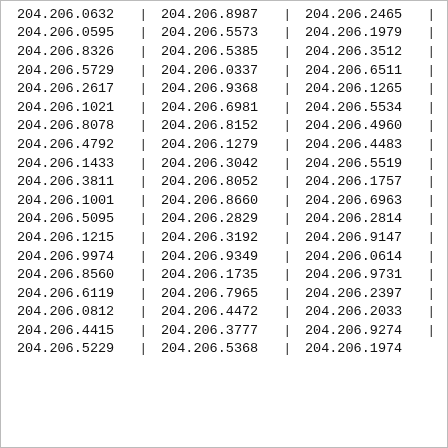| col1 | col2 | col3 |
| --- | --- | --- |
| 204.206.0632 | 204.206.8987 | 204.206.2465 |
| 204.206.0595 | 204.206.5573 | 204.206.1979 |
| 204.206.8326 | 204.206.5385 | 204.206.3512 |
| 204.206.5729 | 204.206.0337 | 204.206.6511 |
| 204.206.2617 | 204.206.9368 | 204.206.1265 |
| 204.206.1021 | 204.206.6981 | 204.206.5534 |
| 204.206.8078 | 204.206.8152 | 204.206.4960 |
| 204.206.4792 | 204.206.1279 | 204.206.4483 |
| 204.206.1433 | 204.206.3042 | 204.206.5519 |
| 204.206.3811 | 204.206.8052 | 204.206.1757 |
| 204.206.1001 | 204.206.8660 | 204.206.6963 |
| 204.206.5095 | 204.206.2829 | 204.206.2814 |
| 204.206.1215 | 204.206.3192 | 204.206.9147 |
| 204.206.9974 | 204.206.9349 | 204.206.0614 |
| 204.206.8560 | 204.206.1735 | 204.206.9731 |
| 204.206.6119 | 204.206.7965 | 204.206.2397 |
| 204.206.0812 | 204.206.4472 | 204.206.2033 |
| 204.206.4415 | 204.206.3777 | 204.206.9274 |
| 204.206.5229 | 204.206.5368 | 204.206.1974 |